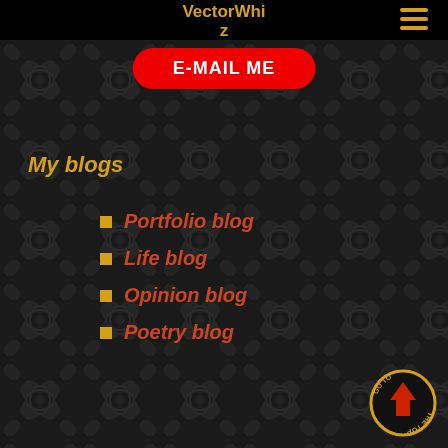VectorWhiz
E-MAIL ME
My blogs
Portfolio blog
Life blog
Opinion blog
Poetry blog
[Figure (illustration): Circular badge with arrow pointing up, text reading GO TO THE TOP in orange/gold on dark background]